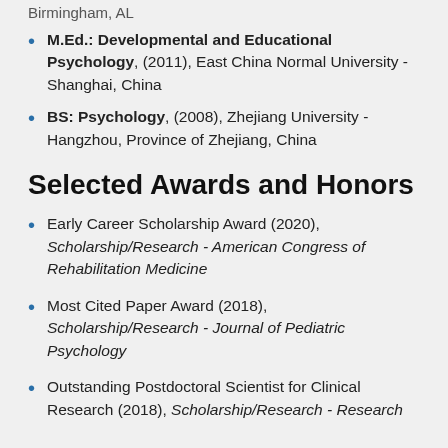Birmingham, AL
M.Ed.: Developmental and Educational Psychology, (2011), East China Normal University - Shanghai, China
BS: Psychology, (2008), Zhejiang University - Hangzhou, Province of Zhejiang, China
Selected Awards and Honors
Early Career Scholarship Award (2020), Scholarship/Research - American Congress of Rehabilitation Medicine
Most Cited Paper Award (2018), Scholarship/Research - Journal of Pediatric Psychology
Outstanding Postdoctoral Scientist for Clinical Research (2018), Scholarship/Research - Research Institute at Nationwide Children's Hospital